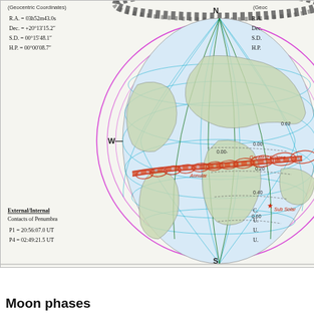[Figure (map): World map eclipse diagram (Geocentric Coordinates) showing annular solar eclipse path across Earth. Features globe projection with latitude/longitude grid lines in cyan and magenta penumbra shadow circles. Red hatched band shows path of annularity labeled 'Annular' and 'Greatest Eclipse'. Red star marks 'Sub Solar' point. Compass directions N, S, W marked. Contour lines labeled 0.00, 0.20, 0.40, 0.60, 0.62 shown. Left panel shows R.A., Dec., S.D., H.P. coordinates. Bottom left shows External/Internal Contacts of Penumbra with times P1 and P4.]
(Geocentric Coordinates)
R.A. = 03h52m43.0s
Dec. = +20°13'15.2"
S.D. = 00°15'48.1"
H.P. = 00°00'08.7"
External/Internal
Contacts of Penumbra
P1 = 20:56:07.0 UT
P4 = 02:49:21.5 UT
Moon phases